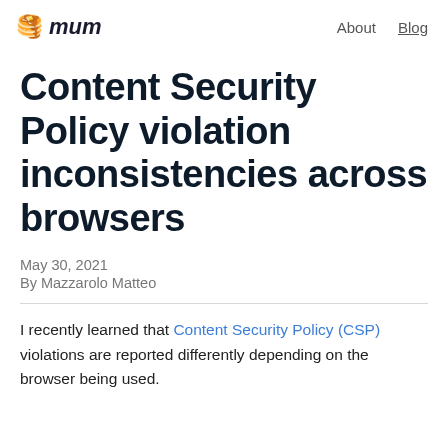🥞 mum   About  Blog
Content Security Policy violation inconsistencies across browsers
May 30, 2021
By Mazzarolo Matteo
I recently learned that Content Security Policy (CSP) violations are reported differently depending on the browser being used.